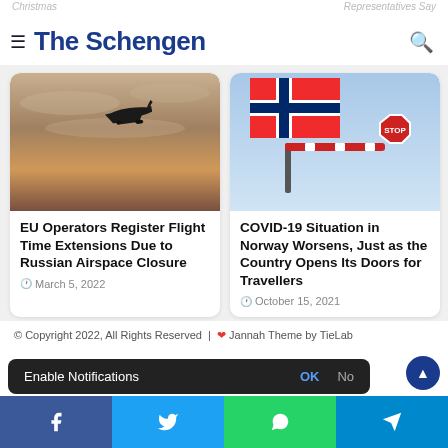The Schengen
[Figure (photo): Silhouette of an airplane flying in a hazy brownish sky]
EU Operators Register Flight Time Extensions Due to Russian Airspace Closure
March 5, 2022
[Figure (photo): Norwegian flag and a barrier gate with a STOP sign against a blue sky]
COVID-19 Situation in Norway Worsens, Just as the Country Opens Its Doors for Travellers
October 15, 2021
© Copyright 2022, All Rights Reserved | ❤ Jannah Theme by TieLab